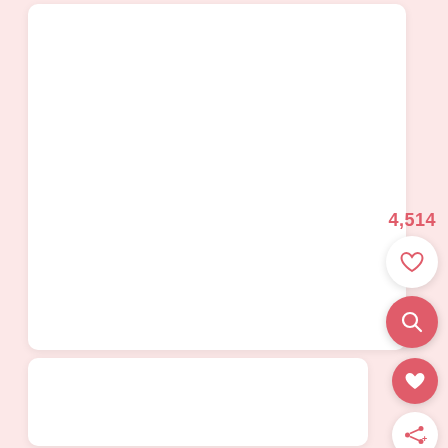[Figure (screenshot): Mobile UI screenshot showing a white card panel with pink/salmon background. Contains a large white content card at top, a count of 4,514 in pink/red text, circular action buttons (heart/like in white, search/magnify in red/salmon), and a second white card below with heart and share buttons.]
4,514